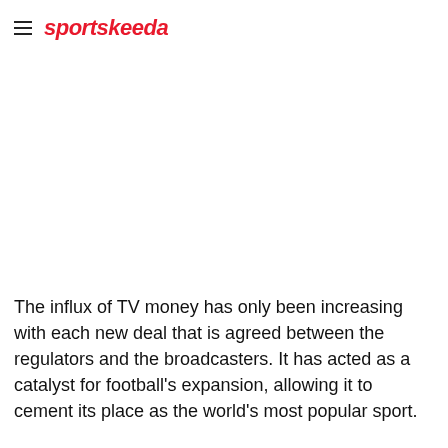sportskeeda
The influx of TV money has only been increasing with each new deal that is agreed between the regulators and the broadcasters. It has acted as a catalyst for football's expansion, allowing it to cement its place as the world's most popular sport.